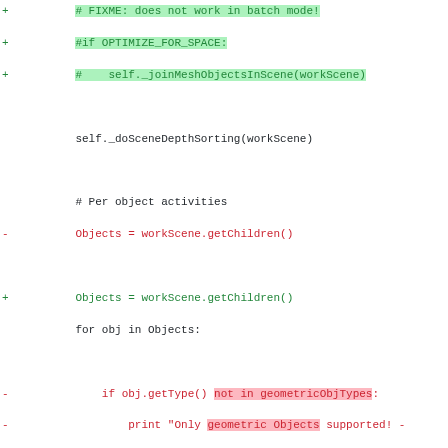Code diff showing changes to a Python renderer class, including additions of FIXME comments, refactoring of object type checks, renaming of worldPosition to _getObjPosition, and related docstrings.